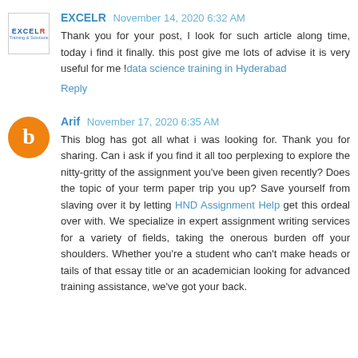EXCELR  November 14, 2020 6:32 AM
Thank you for your post, I look for such article along time, today i find it finally. this post give me lots of advise it is very useful for me !data science training in Hyderabad
Reply
Arif  November 17, 2020 6:35 AM
This blog has got all what i was looking for. Thank you for sharing. Can i ask if you find it all too perplexing to explore the nitty-gritty of the assignment you've been given recently? Does the topic of your term paper trip you up? Save yourself from slaving over it by letting HND Assignment Help get this ordeal over with. We specialize in expert assignment writing services for a variety of fields, taking the onerous burden off your shoulders. Whether you're a student who can't make heads or tails of that essay title or an academician looking for advanced training assistance, we've got your back.